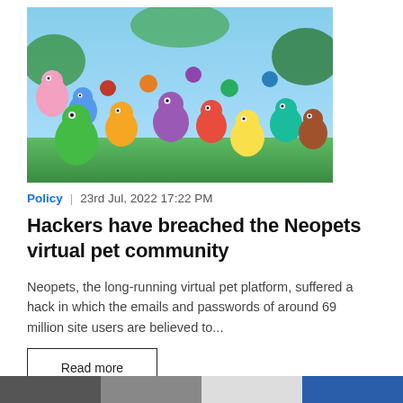[Figure (illustration): Colorful cartoon Neopets characters crowded together in a jungle/outdoor setting]
Policy | 23rd Jul, 2022 17:22 PM
Hackers have breached the Neopets virtual pet community
Neopets, the long-running virtual pet platform, suffered a hack in which the emails and passwords of around 69 million site users are believed to...
Read more
[Figure (photo): Partial bottom strip of another article image, cut off]